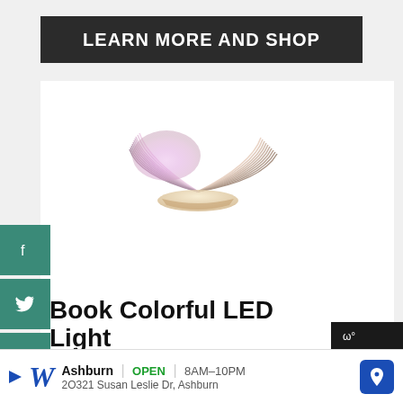LEARN MORE AND SHOP
[Figure (photo): Book Colorful LED Light product photo — an open book-shaped lamp glowing with purple/pink/white LED light, shown against a white circular background]
Book Colorful LED Light
Photo Credit: Amazon
This might look like a book, but it's actually... that illuminates when you open its cover.
[Figure (infographic): What's Next widget showing 'The Best Gifts All Disney...' with thumbnail images of gift bags]
[Figure (infographic): Walgreens advertisement: Ashburn OPEN 8AM-10PM, 20321 Susan Leslie Dr, Ashburn]